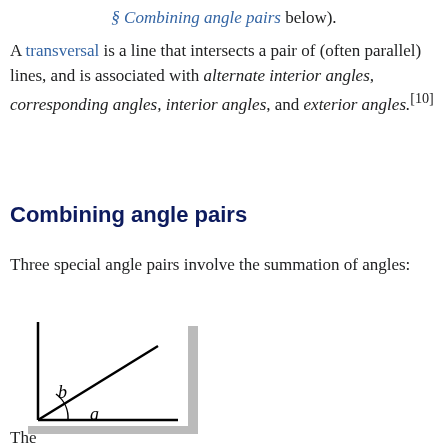§ Combining angle pairs below).
A transversal is a line that intersects a pair of (often parallel) lines, and is associated with alternate interior angles, corresponding angles, interior angles, and exterior angles.[10]
Combining angle pairs
Three special angle pairs involve the summation of angles:
[Figure (illustration): Diagram showing two angles a and b formed at the corner of a right angle, with a diagonal line creating angle b above angle a. The angles are labeled with italic letters a and b.]
The